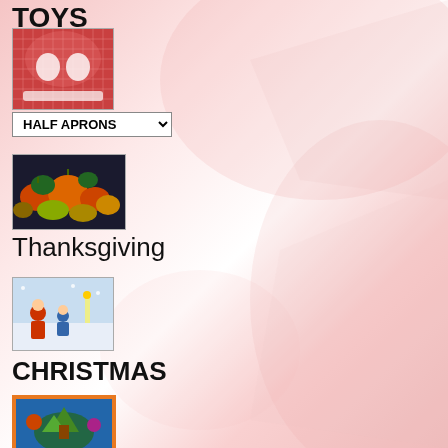TOYS
[Figure (photo): Red checkered half apron with white embroidered pockets]
HALF APRONS
[Figure (photo): Colorful Thanksgiving themed fabric with pumpkins in red, green, yellow on dark background]
Thanksgiving
[Figure (photo): Christmas scene illustration with Santa Claus and children in winter setting]
CHRISTMAS
[Figure (photo): Colorful illustrated panel with orange border, fantasy/storybook scene]